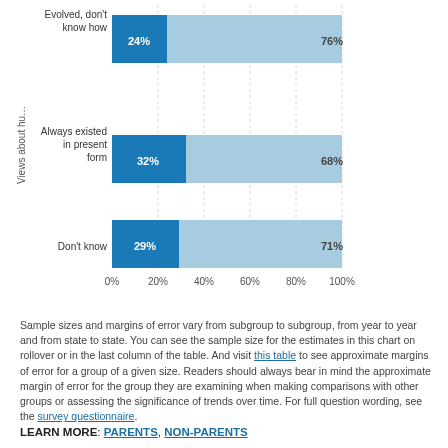[Figure (stacked-bar-chart): Views about human evolution]
Sample sizes and margins of error vary from subgroup to subgroup, from year to year and from state to state. You can see the sample size for the estimates in this chart on rollover or in the last column of the table. And visit this table to see approximate margins of error for a group of a given size. Readers should always bear in mind the approximate margin of error for the group they are examining when making comparisons with other groups or assessing the significance of trends over time. For full question wording, see the survey questionnaire.
LEARN MORE: PARENTS, NON-PARENTS